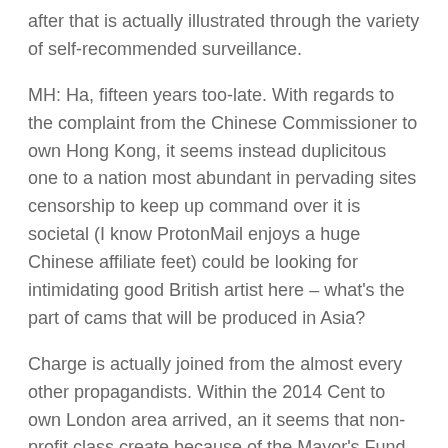after that is actually illustrated through the variety of self-recommended surveillance.
MH: Ha, fifteen years too-late. With regards to the complaint from the Chinese Commissioner to own Hong Kong, it seems instead duplicitous one to a nation most abundant in pervading sites censorship to keep up command over it is societal (I know ProtonMail enjoys a huge Chinese affiliate feet) could be looking for intimidating good British artist here – what's the part of cams that will be produced in Asia?
Charge is actually joined from the almost every other propagandists. Within the 2014 Cent to own London area arrived, an it seems that non-profit class create because of the Mayor's Fund to own London area and you can Barclaycard, using foundation because the a hook to evolve visitors to contactless notes on London Below ground. PayPal plastered metropolitan